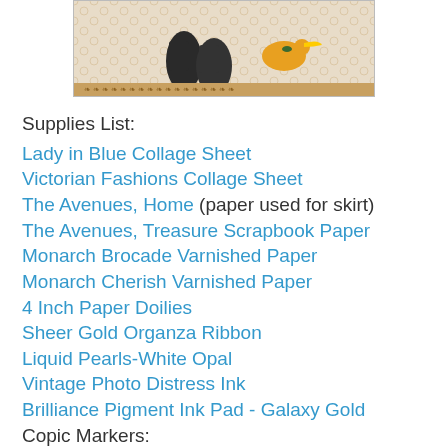[Figure (photo): Partial image of a Victorian-style decorative plaque showing boots and birds with ornate background]
Supplies List:
Lady in Blue Collage Sheet
Victorian Fashions Collage Sheet
The Avenues, Home (paper used for skirt)
The Avenues, Treasure Scrapbook Paper
Monarch Brocade Varnished Paper
Monarch Cherish Varnished Paper
4 Inch Paper Doilies
Sheer Gold Organza Ribbon
Liquid Pearls-White Opal
Vintage Photo Distress Ink
Brilliance Pigment Ink Pad - Galaxy Gold
Copic Markers:
Madonna of the Birds Set
Mod podge
Aleenes Clear Gel Tacky Glue (great for sheer ribbon!)
Cardboard (used as the backing for the plaque)